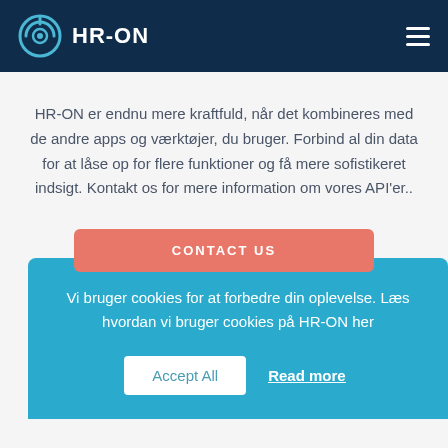HR-ON
HR-ON er endnu mere kraftfuld, når det kombineres med de andre apps og værktøjer, du bruger. Forbind al din data for at låse op for flere funktioner og få mere sofistikeret indsigt. Kontakt os for mere information om vores API'er..
CONTACT US
Vi bruger cookies for at forbedre din oplevelse. Læs hvordan vi bruger cookies på HR-ON her
Accept All
Read more